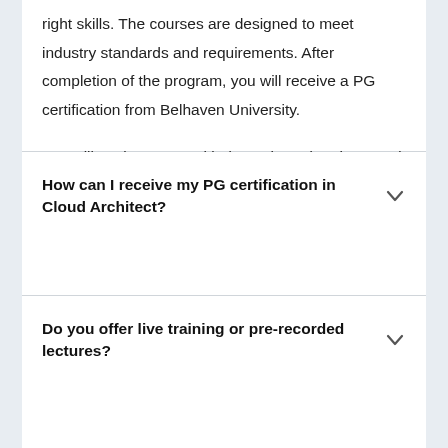right skills. The courses are designed to meet industry standards and requirements. After completion of the program, you will receive a PG certification from Belhaven University.

You will work on several industry-based projects and assignments as part of the training. Getting certified in this PG program will prepare you well for some of the top-paying jobs around the world.
How can I receive my PG certification in Cloud Architect?
Do you offer live training or pre-recorded lectures?